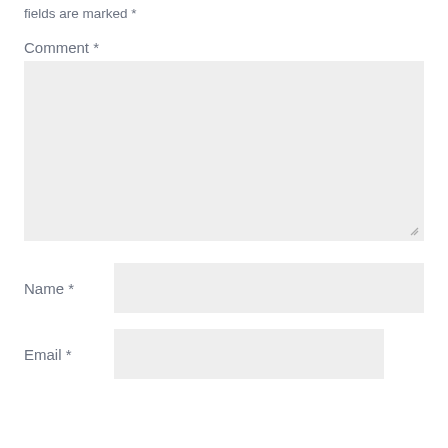fields are marked *
Comment *
[Figure (screenshot): Large comment textarea input box with resize handle at bottom right]
Name *
[Figure (screenshot): Name text input field]
Email *
[Figure (screenshot): Email text input field (partially visible)]